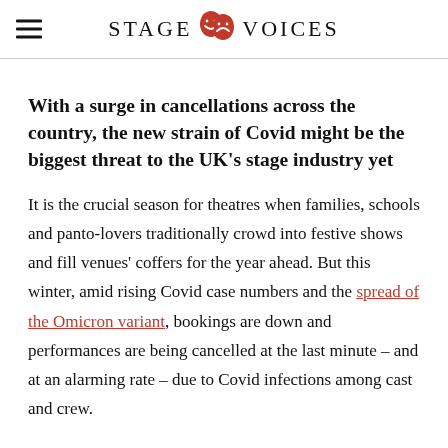STAGE VOICES
With a surge in cancellations across the country, the new strain of Covid might be the biggest threat to the UK's stage industry yet
It is the crucial season for theatres when families, schools and panto-lovers traditionally crowd into festive shows and fill venues' coffers for the year ahead. But this winter, amid rising Covid case numbers and the spread of the Omicron variant, bookings are down and performances are being cancelled at the last minute – and at an alarming rate – due to Covid infections among cast and crew.